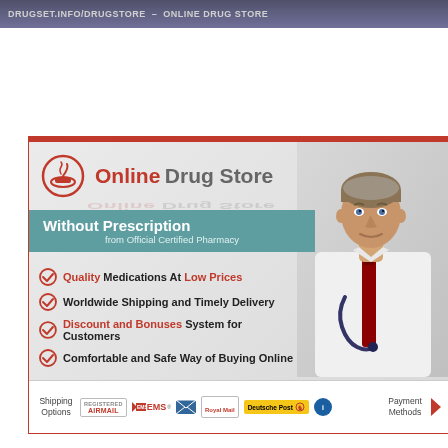DRUGSET.INFO/DRUGSTORE - ONLINE DRUG STORE
[Figure (infographic): Online Drug Store advertisement banner featuring pharmacy logo with mortar and pestle, doctor in white coat with stethoscope, checklist of services including Quality Medications At Low Prices, Worldwide Shipping and Timely Delivery, Discount and Bonuses System for Customers, Comfortable and Safe Way of Buying Online, and shipping options including Registered Airmail, EMS, Royal Mail, Deutsche Post]
Without Prescription from Official Certified Pharmacy
Quality Medications At Low Prices
Worldwide Shipping and Timely Delivery
Discount and Bonuses System for Customers
Comfortable and Safe Way of Buying Online
Shipping Options | REGISTERED AIRMAIL | EMS | [USPS] | Royal Mail | Deutsche Post | [DHL] | Payment Methods